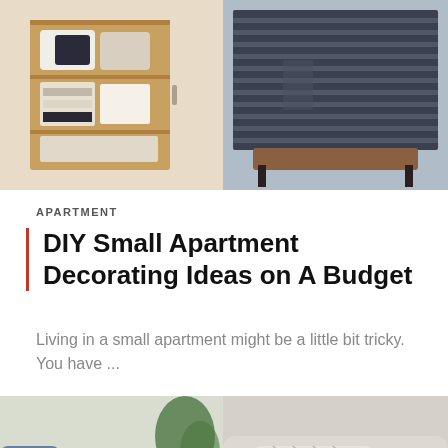[Figure (photo): Two side-by-side interior photos: left shows a wooden shelving unit with folded linens and pillows; right shows a dark metal slat bench or headboard with furniture behind it.]
APARTMENT
DIY Small Apartment Decorating Ideas on A Budget
Living in a small apartment might be a little bit tricky. You have ...
[Figure (photo): Two side-by-side lifestyle photos: left shows a person on a couch with a green glass bottle, white bowl, and remote on a wooden side table; right shows a beige sofa with a patterned geometric pillow and a cup of coffee.]